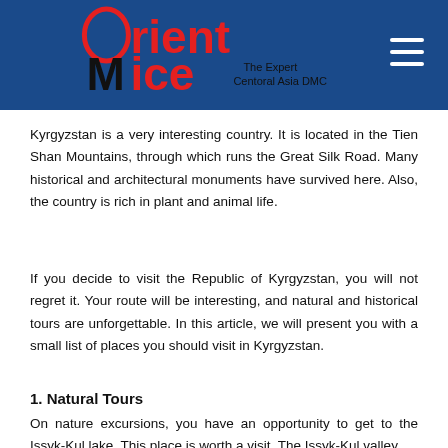Orient Mice — The Expert Central Asia DMC
Kyrgyzstan is a very interesting country. It is located in the Tien Shan Mountains, through which runs the Great Silk Road. Many historical and architectural monuments have survived here. Also, the country is rich in plant and animal life.
If you decide to visit the Republic of Kyrgyzstan, you will not regret it. Your route will be interesting, and natural and historical tours are unforgettable. In this article, we will present you with a small list of places you should visit in Kyrgyzstan.
1. Natural Tours
On nature excursions, you have an opportunity to get to the Issyk-Kul lake. This place is worth a visit. The Issyk-Kul valley